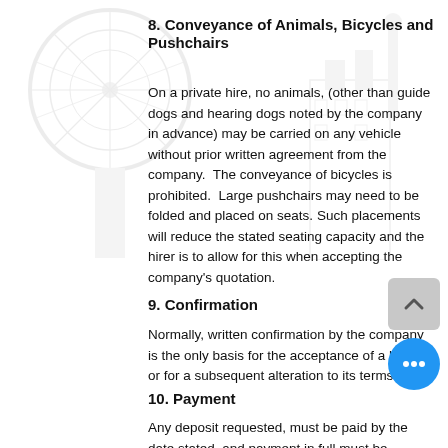8. Conveyance of Animals, Bicycles and Pushchairs
On a private hire, no animals, (other than guide dogs and hearing dogs noted by the company in advance) may be carried on any vehicle without prior written agreement from the company.  The conveyance of bicycles is prohibited.  Large pushchairs may need to be folded and placed on seats. Such placements will reduce the stated seating capacity and the hirer is to allow for this when accepting the company's quotation.
9. Confirmation
Normally, written confirmation by the company is the only basis for the acceptance of a hiring or for a subsequent alteration to its terms.
10. Payment
Any deposit requested, must be paid by the date stated, and payment in full must be made before the start of the hire, unless otherwise agreed by the company.  The company reserves the right to add interest at the rate of 2% per annum.